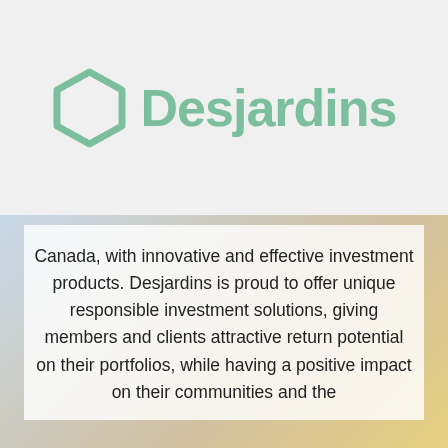[Figure (logo): Desjardins logo with hexagon icon and green text]
Canada, with innovative and effective investment products. Desjardins is proud to offer unique responsible investment solutions, giving members and clients attractive return potential on their portfolios, while having a positive impact on their communities and the